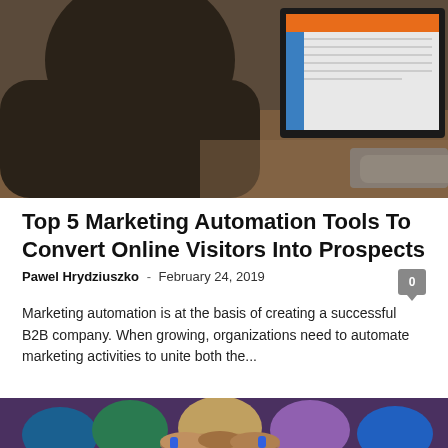[Figure (photo): Person sitting at a desk typing on a laptop, with a large monitor displaying software in the background]
Top 5 Marketing Automation Tools To Convert Online Visitors Into Prospects
Pawel Hrydziuszko – February 24, 2019
Marketing automation is at the basis of creating a successful B2B company. When growing, organizations need to automate marketing activities to unite both the...
[Figure (photo): Group of people with hands together in a team huddle]